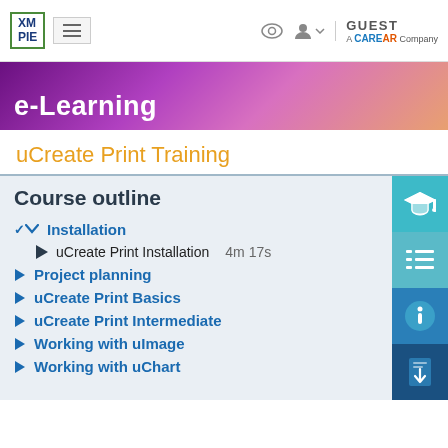[Figure (screenshot): XM PIE logo in green border, hamburger menu button, eye icon, user icon with dropdown arrow, GUEST label, A CareAR Company text]
[Figure (illustration): e-Learning banner with purple/pink/orange gradient background and white bold text reading e-Learning]
uCreate Print Training
Course outline
Installation
uCreate Print Installation   4m 17s
Project planning
uCreate Print Basics
uCreate Print Intermediate
Working with uImage
Working with uChart